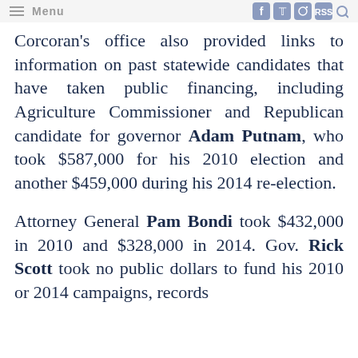Menu
Corcoran's office also provided links to information on past statewide candidates that have taken public financing, including Agriculture Commissioner and Republican candidate for governor Adam Putnam, who took $587,000 for his 2010 election and another $459,000 during his 2014 re-election.
Attorney General Pam Bondi took $432,000 in 2010 and $328,000 in 2014. Gov. Rick Scott took no public dollars to fund his 2010 or 2014 campaigns, records